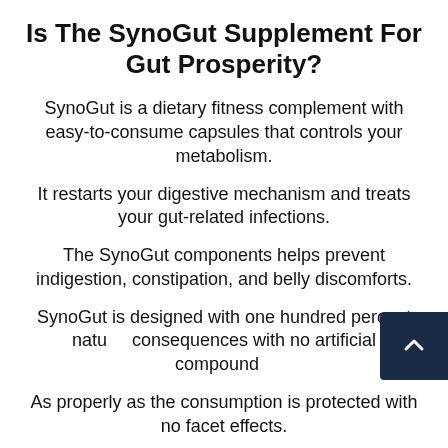Is The SynoGut Supplement For Gut Prosperity?
SynoGut is a dietary fitness complement with easy-to-consume capsules that controls your metabolism.
It restarts your digestive mechanism and treats your gut-related infections.
The SynoGut components helps prevent indigestion, constipation, and belly discomforts.
SynoGut is designed with one hundred percent natural consequences with no artificial compounds.
As properly as the consumption is protected with no facet effects.